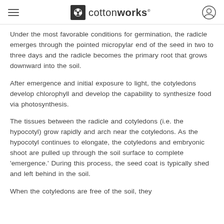cottonworks
Under the most favorable conditions for germination, the radicle emerges through the pointed micropylar end of the seed in two to three days and the radicle becomes the primary root that grows downward into the soil.
After emergence and initial exposure to light, the cotyledons develop chlorophyll and develop the capability to synthesize food via photosynthesis.
The tissues between the radicle and cotyledons (i.e. the hypocotyl) grow rapidly and arch near the cotyledons. As the hypocotyl continues to elongate, the cotyledons and embryonic shoot are pulled up through the soil surface to complete 'emergence.' During this process, the seed coat is typically shed and left behind in the soil.
When the cotyledons are free of the soil, they